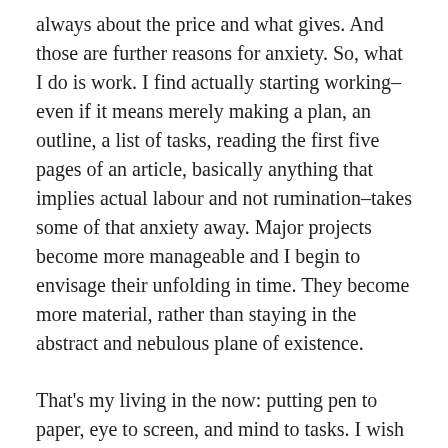always about the price and what gives. And those are further reasons for anxiety. So, what I do is work. I find actually starting working–even if it means merely making a plan, an outline, a list of tasks, reading the first five pages of an article, basically anything that implies actual labour and not rumination–takes some of that anxiety away. Major projects become more manageable and I begin to envisage their unfolding in time. They become more material, rather than staying in the abstract and nebulous plane of existence.
That's my living in the now: putting pen to paper, eye to screen, and mind to tasks. I wish it more spiritual, new-agey, and overall posh. But it's not. I'm a worker bee, and my solution to curbing the anxiety about work is work itself.